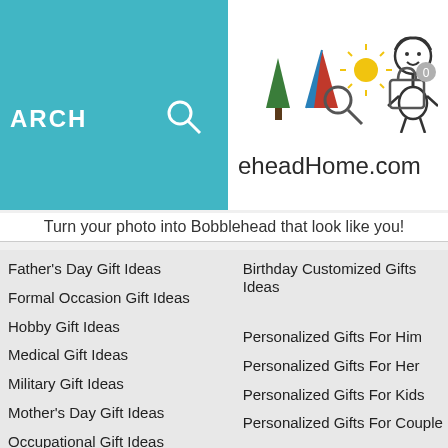SEARCH | BobbleheadHome.com
Turn your photo into Bobblehead that look like you!
Father's Day Gift Ideas
Birthday Customized Gifts Ideas
Formal Occasion Gift Ideas
Hobby Gift Ideas
Personalized Gifts For Him
Medical Gift Ideas
Personalized Gifts For Her
Military Gift Ideas
Personalized Gifts For Kids
Mother's Day Gift Ideas
Personalized Gifts For Couple
Occupational Gift Ideas
Religious Gift Ideas
Sports Bobblehead Gifts
Valentine's Day Gift Ideas
Wedding Gift Ideas
Men Collections